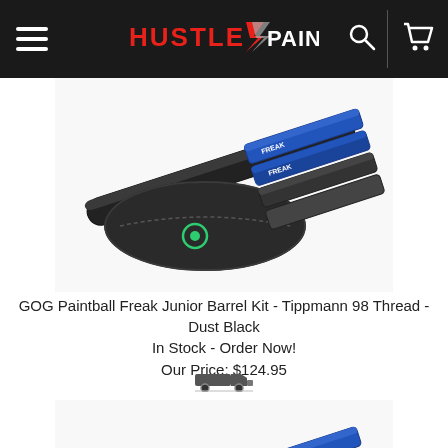HUSTLE PAINTBALL (navigation bar with logo, hamburger menu, search, and cart)
[Figure (photo): GOG Paintball Freak Junior Barrel Kit product photo showing black barrel kit with case and inserts, first image]
GOG Paintball Freak Junior Barrel Kit - Tippmann 98 Thread - Dust Black
In Stock - Order Now!
Our Price: $124.95
[Figure (photo): Shipping icon/truck image]
[Figure (photo): GOG Paintball Freak Junior Barrel Kit product photo showing black barrel kit with case and inserts, second image]